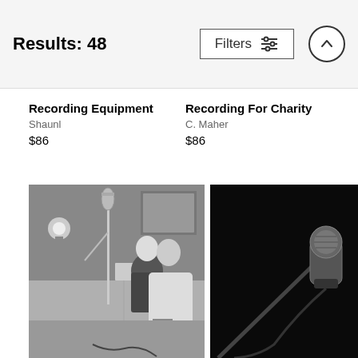Results: 48
Recording Equipment
Shaunl
$86
Recording For Charity
C. Maher
$86
[Figure (photo): Black and white photo of two people in a recording studio, one seated with a microphone stand nearby]
[Figure (photo): Black and white photo of a microphone on a stand against a dark background]